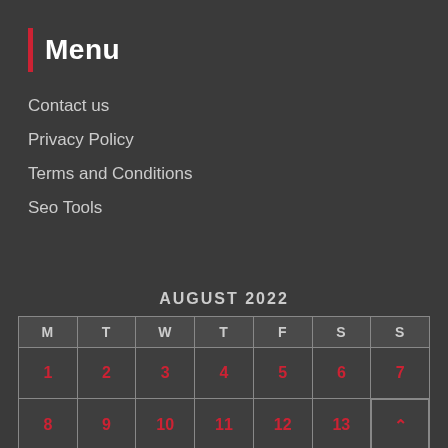Menu
Contact us
Privacy Policy
Terms and Conditions
Seo Tools
AUGUST 2022
| M | T | W | T | F | S | S |
| --- | --- | --- | --- | --- | --- | --- |
| 1 | 2 | 3 | 4 | 5 | 6 | 7 |
| 8 | 9 | 10 | 11 | 12 | 13 | 14 |
| 15 | 16 | 17 | 18 | 19 | 20 | 21 |
| 22 | 23 | 24 | 25 | 26 | 27 | 28 |
| 29 | 30 | 31 |  |  |  |  |